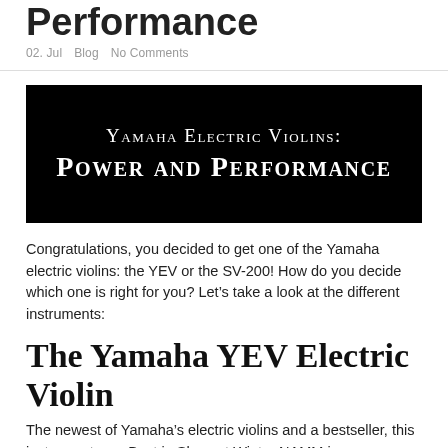Performance
02. Jul   Blog   No Comments
[Figure (illustration): Black banner image with white text reading 'Yamaha Electric Violins: Power and Performance' in small-caps serif font.]
Congratulations, you decided to get one of the Yamaha electric violins: the YEV or the SV-200! How do you decide which one is right for you? Let’s take a look at the different instruments:
The Yamaha YEV Electric Violin
The newest of Yamaha’s electric violins and a bestseller, this instrument won Best in Show at Winter NAMM in